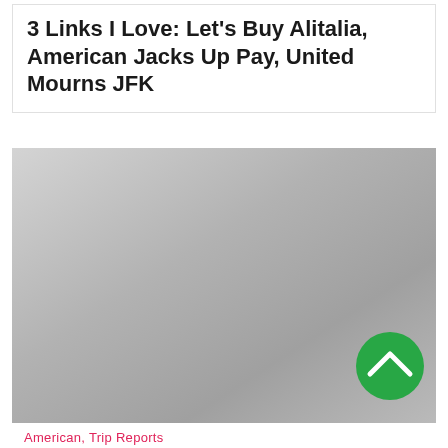3 Links I Love: Let's Buy Alitalia, American Jacks Up Pay, United Mourns JFK
[Figure (photo): Gray placeholder image with gradient shading, featuring a green circular scroll-to-top button with an upward chevron arrow in the bottom right corner]
American, Trip Reports